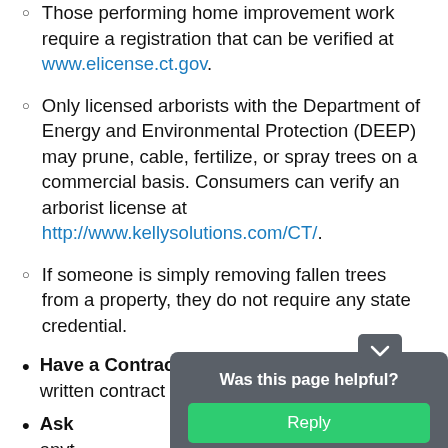Those performing home improvement work require a registration that can be verified at www.elicense.ct.gov.
Only licensed arborists with the Department of Energy and Environmental Protection (DEEP) may prune, cable, fertilize, or spray trees on a commercial basis. Consumers can verify an arborist license at http://www.kellysolutions.com/CT/.
If someone is simply removing fallen trees from a property, they do not require any state credential.
Have a Contract: Make sure you have a written contract signed by both parties.
Ask [partially obscured] there is anything [partially obscured] repair proc[ess]